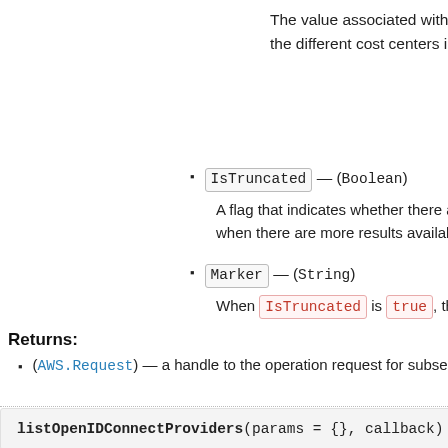The value associated with this tag. For example, the different cost centers in your company. Typica
Note: Amazon Web Services always interprets th
IsTruncated — (Boolean)
A flag that indicates whether there are more items to r when there are more results available. We recommen
Marker — (String)
When IsTruncated is true, this element is prese
Returns:
(AWS.Request) — a handle to the operation request for subse
listOpenIDConnectProviders(params = {}, callback) =